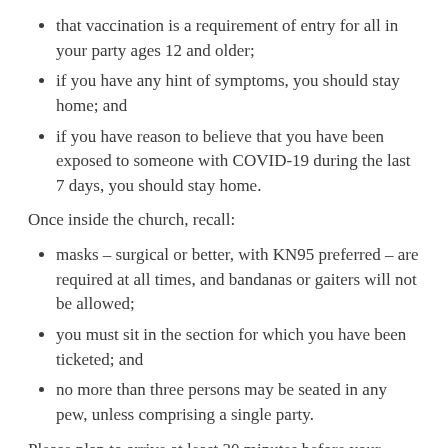that vaccination is a requirement of entry for all in your party ages 12 and older;
if you have any hint of symptoms, you should stay home; and
if you have reason to believe that you have been exposed to someone with COVID-19 during the last 7 days, you should stay home.
Once inside the church, recall:
masks – surgical or better, with KN95 preferred – are required at all times, and bandanas or gaiters will not be allowed;
you must sit in the section for which you have been ticketed; and
no more than three persons may be seated in any pew, unless comprising a single party.
Please plan to arrive at least 30 minutes before your ticketed program's start time and queue at the West Doors (that face Copley Square) so that our entry